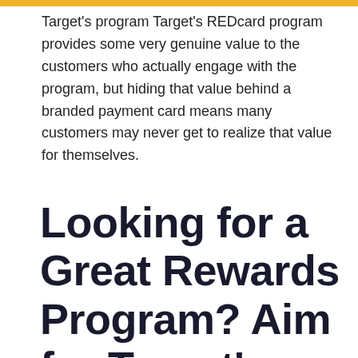Target's program Target's REDcard program provides some very genuine value to the customers who actually engage with the program, but hiding that value behind a branded payment card means many customers may never get to realize that value for themselves.
Looking for a Great Rewards Program? Aim for Target's REDcard